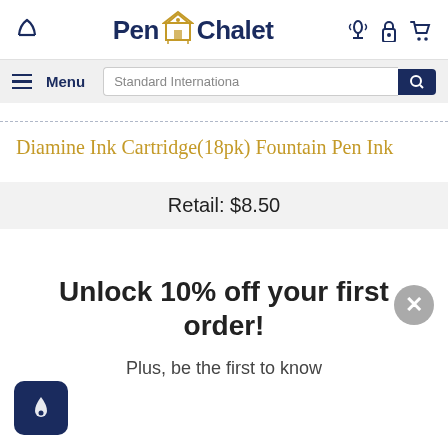Pen Chalet
Diamine Ink Cartridge(18pk) Fountain Pen Ink
Retail: $8.50
Unlock 10% off your first order!
Plus, be the first to know